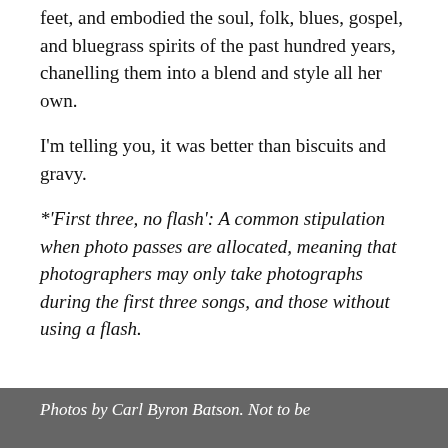feet, and embodied the soul, folk, blues, gospel, and bluegrass spirits of the past hundred years, chanelling them into a blend and style all her own.
I'm telling you, it was better than biscuits and gravy.
*'First three, no flash': A common stipulation when photo passes are allocated, meaning that photographers may only take photographs during the first three songs, and those without using a flash.
Photos by Carl Byron Batson. Not to be